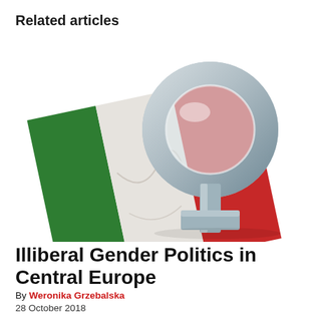Related articles
[Figure (illustration): A 3D silver female gender symbol (Venus symbol) resting on top of a draped Italian flag (green, white, red vertical stripes), on a white background.]
Illiberal Gender Politics in Central Europe
By Weronika Grzebalska
28 October 2018